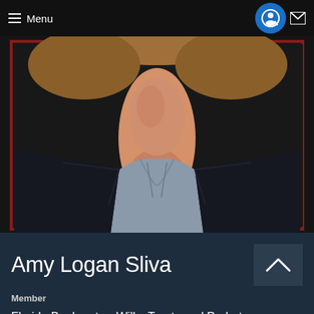≡ Menu
[Figure (photo): Professional headshot of Amy Logan Sliva, a woman wearing a dark blazer and light blue/grey collared shirt, photo cropped at neck/chest area, dark background]
Amy Logan Sliva
Member
Florida Bankruptcy, Wills, Trusts and Probate